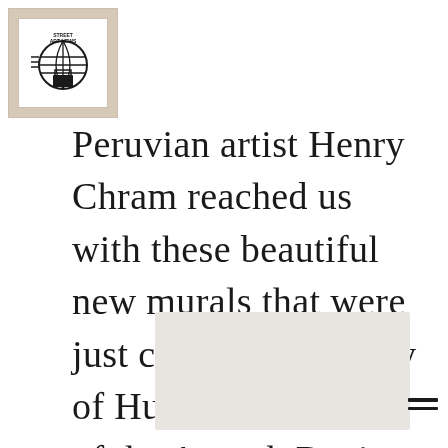[Figure (logo): Street Art News logo — globe icon with horizontal lines and text 'STREET ART NEWS' inside a white box on a tan/beige background]
Peruvian artist Henry Chram reached us with these beautiful new murals that were just created in the city of Huaraz, the capital of the Ancash Region, North Perù.
[Figure (photo): Partially visible photo placeholder at the bottom of the page]